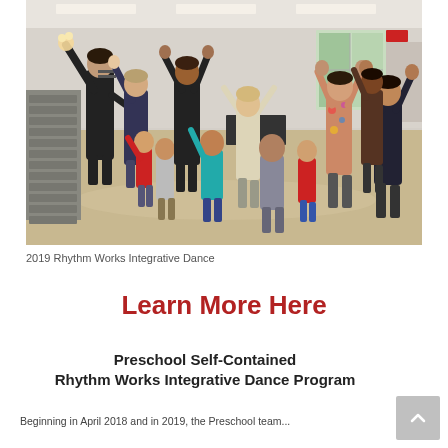[Figure (photo): A group of adults and young children in a large room with tile floors and fluorescent lighting, arms raised, participating in a dance or movement activity. Several adults are guiding children in the exercise, forming a loose circle or group.]
2019 Rhythm Works Integrative Dance
Learn More Here
Preschool Self-Contained Rhythm Works Integrative Dance Program
Beginning in April 2018 and in 2019, the Preschool team...